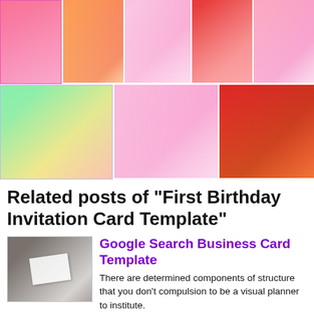[Figure (photo): Grid of first birthday invitation card template images - top row with 5 colorful birthday invitation cards]
[Figure (photo): Grid of first birthday invitation card template images - bottom row with 3 colorful birthday invitation cards]
Related posts of "First Birthday Invitation Card Template"
[Figure (photo): Thumbnail image of Google Search Business Card Template showing business cards on a dark background]
Google Search Business Card Template
There are determined components of structure that you don't compulsion to be a visual planner to institute. These prove to be useful regardless of what you are planning, be it promotions, introductions, or matter cards to put up to minister to any matter combined needs. The utilization of matter Google Search Business Card Template is